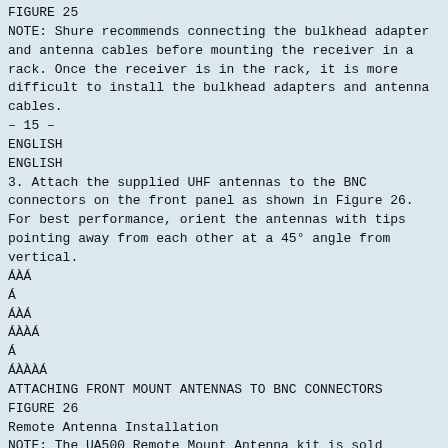FIGURE 25
NOTE: Shure recommends connecting the bulkhead adapter and antenna cables before mounting the receiver in a rack. Once the receiver is in the rack, it is more difficult to install the bulkhead adapters and antenna cables.
- 15 -
ENGLISH
ENGLISH
3. Attach the supplied UHF antennas to the BNC connectors on the front panel as shown in Figure 26. For best performance, orient the antennas with tips pointing away from each other at a 45° angle from vertical.
ÁÀÁ
Á
ÁÀÁ
ÁÀÀÁ
Á
ÁÀÀÀÁ
ATTACHING FRONT MOUNT ANTENNAS TO BNC CONNECTORS
FIGURE 26
Remote Antenna Installation
NOTE: The UA500 Remote Mount Antenna kit is sold separately.
1. Insert the two bulkhead adapters through the larger holes on each side of the front panel, and secure them from each side, using the supplied attaching hardware. See Figure 27.
2. Connect antenna cables to the receiver and the